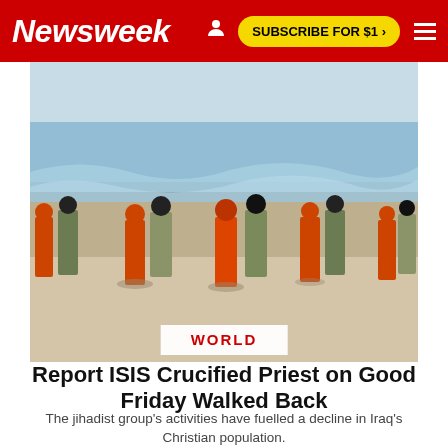Newsweek
[Figure (photo): Group of people in orange jumpsuits being led along a beach by masked guards in military attire, with ocean waves in the background.]
WORLD
Report ISIS Crucified Priest on Good Friday Walked Back
The jihadist group's activities have fuelled a decline in Iraq's Christian population.